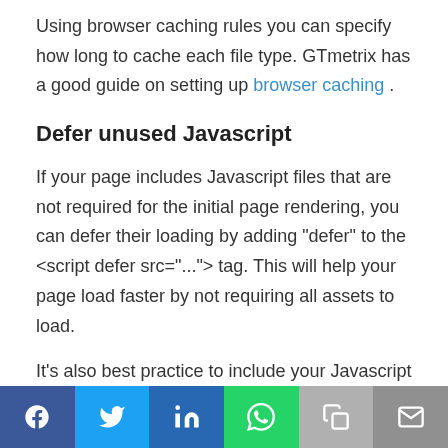Using browser caching rules you can specify how long to cache each file type. GTmetrix has a good guide on setting up browser caching .
Defer unused Javascript
If your page includes Javascript files that are not required for the initial page rendering, you can defer their loading by adding "defer" to the <script defer src="..."> tag. This will help your page load faster by not requiring all assets to load.
It's also best practice to include your Javascript and CSS files at the end of the document so they are the last thing to load. Ideally you can part out the CSS
[Figure (infographic): Social share bar with icons for Facebook, Twitter, LinkedIn, WhatsApp, Copy, and Email]